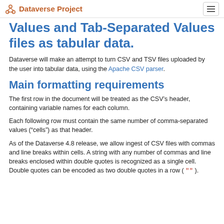Dataverse Project
Values and Tab-Separated Values files as tabular data.
Dataverse will make an attempt to turn CSV and TSV files uploaded by the user into tabular data, using the Apache CSV parser.
Main formatting requirements
The first row in the document will be treated as the CSV’s header, containing variable names for each column.
Each following row must contain the same number of comma-separated values (“cells”) as that header.
As of the Dataverse 4.8 release, we allow ingest of CSV files with commas and line breaks within cells. A string with any number of commas and line breaks enclosed within double quotes is recognized as a single cell. Double quotes can be encoded as two double quotes in a row ( "" ).